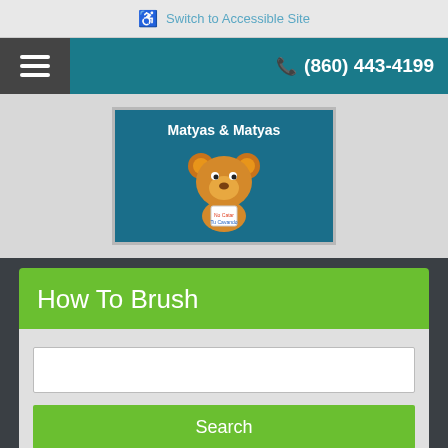Switch to Accessible Site
(860) 443-4199
[Figure (logo): Matyas & Matyas dental practice logo with a cartoon bear holding a sign reading 'No Catar Tu Cavando' on a teal background]
How To Brush
Search